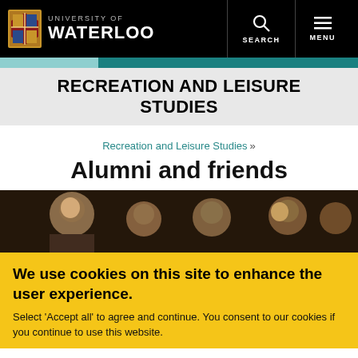University of Waterloo
RECREATION AND LEISURE STUDIES
Recreation and Leisure Studies »
Alumni and friends
[Figure (photo): Group photo of alumni at an event, smiling faces visible]
We use cookies on this site to enhance the user experience. Select 'Accept all' to agree and continue. You consent to our cookies if you continue to use this website.